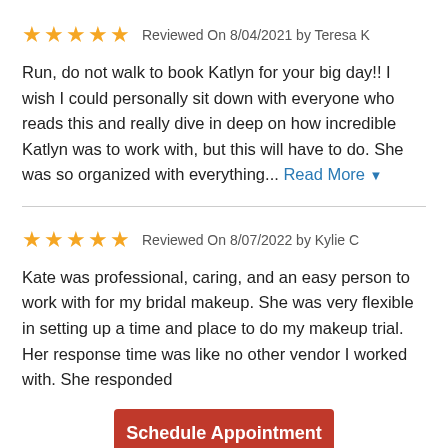★★★★★  Reviewed On 8/04/2021 by Teresa K
Run, do not walk to book Katlyn for your big day!! I wish I could personally sit down with everyone who reads this and really dive in deep on how incredible Katlyn was to work with, but this will have to do. She was so organized with everything... Read More
★★★★★  Reviewed On 8/07/2022 by Kylie C
Kate was professional, caring, and an easy person to work with for my bridal makeup. She was very flexible in setting up a time and place to do my makeup trial. Her response time was like no other vendor I worked with. She responded
Schedule Appointment